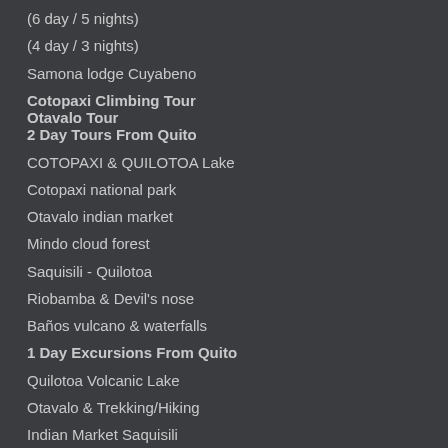(6 day / 5 nights)
(4 day / 3 nights)
Samona lodge Cuyabeno
Cotopaxi Climbing Tour
Otavalo Tour
2 Day Tours From Quito
COTOPAXI & QUILOTOA Lake
Cotopaxi national park
Otavalo indian market
Mindo cloud forest
Saquisili - Quilotoa
Riobamba & Devil's nose
Baños vulcano & waterfalls
1 Day Excursions From Quito
Quilotoa Volcanic Lake
Otavalo & Trekking/Hiking
Indian Market Saquisili